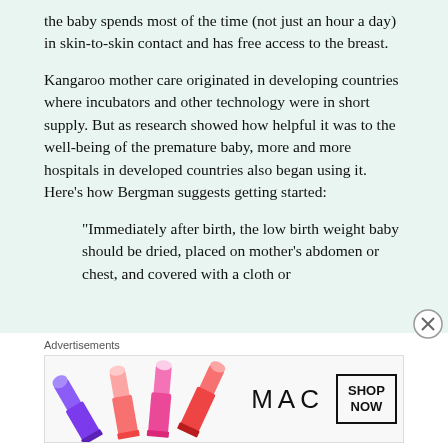the baby spends most of the time (not just an hour a day) in skin-to-skin contact and has free access to the breast.
Kangaroo mother care originated in developing countries where incubators and other technology were in short supply. But as research showed how helpful it was to the well-being of the premature baby, more and more hospitals in developed countries also began using it. Here’s how Bergman suggests getting started:
“Immediately after birth, the low birth weight baby should be dried, placed on mother’s abdomen or chest, and covered with a cloth or
Advertisements
[Figure (other): MAC cosmetics advertisement showing lipsticks in purple, peach, and pink colors on the left, MAC logo wordmark in center, and a SHOP NOW button on the right.]